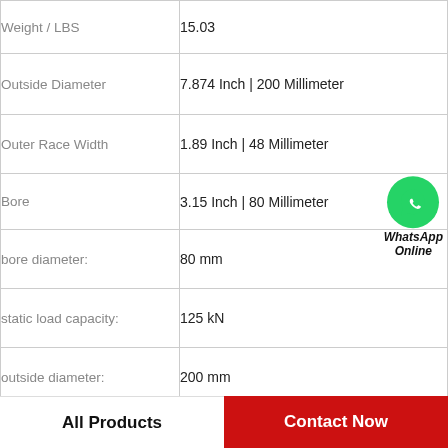| Property | Value |
| --- | --- |
| Weight / LBS | 15.03 |
| Outside Diameter | 7.874 Inch | 200 Millimeter |
| Outer Race Width | 1.89 Inch | 48 Millimeter |
| Bore | 3.15 Inch | 80 Millimeter |
| bore diameter: | 80 mm |
| static load capacity: | 125 kN |
| outside diameter: | 200 mm |
| precision rating: | ABEC 1 (ISO Class Normal) |
|  |  |
[Figure (logo): WhatsApp Online badge — green circle with phone handset icon, text 'WhatsApp Online' below]
All Products
Contact Now